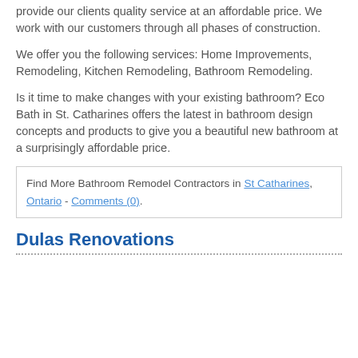provide our clients quality service at an affordable price. We work with our customers through all phases of construction.
We offer you the following services: Home Improvements, Remodeling, Kitchen Remodeling, Bathroom Remodeling.
Is it time to make changes with your existing bathroom? Eco Bath in St. Catharines offers the latest in bathroom design concepts and products to give you a beautiful new bathroom at a surprisingly affordable price.
Find More Bathroom Remodel Contractors in St Catharines, Ontario - Comments (0).
Dulas Renovations